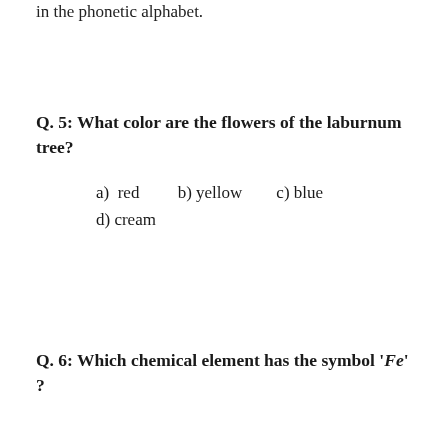in the phonetic alphabet.
Q.  5:  What color are the flowers of the laburnum tree?
a)  red         b) yellow         c) blue         d) cream
Q.  6:  Which chemical element has the symbol 'Fe' ?